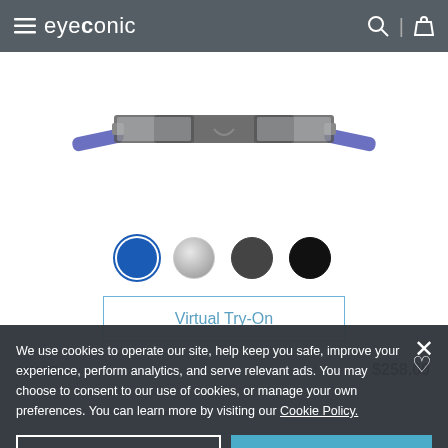≡ eyeconic
[Figure (photo): Eyeglasses (half-rim frames with blue/purple temple tips) viewed from the front, displayed on a white background]
[Figure (other): Color swatches: blue (selected), silver, dark gray, black]
Virtual Try-On
NIKE   $258.00
We use cookies to operate our site, help keep you safe, improve your experience, perform analytics, and serve relevant ads. You may choose to consent to our use of cookies, or manage your own preferences. You can learn more by visiting our Cookie Policy.
Manage Cookies
Accept Cookies